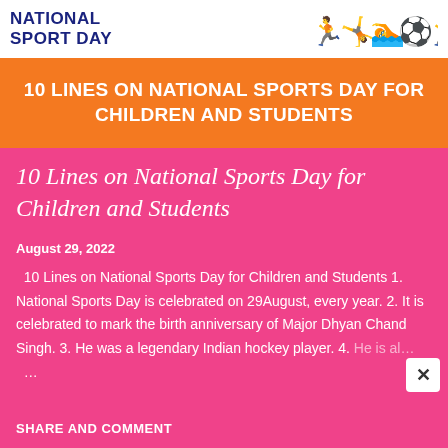NATIONAL SPORT DAY
10 LINES ON NATIONAL SPORTS DAY FOR CHILDREN AND STUDENTS
10 Lines on National Sports Day for Children and Students
August 29, 2022
10 Lines on National Sports Day for Children and Students 1. National Sports Day is celebrated on 29August, every year. 2. It is celebrated to mark the birth anniversary of Major Dhyan Chand Singh. 3. He was a legendary Indian hockey player. 4. He is al… …
SHARE and COMMENT